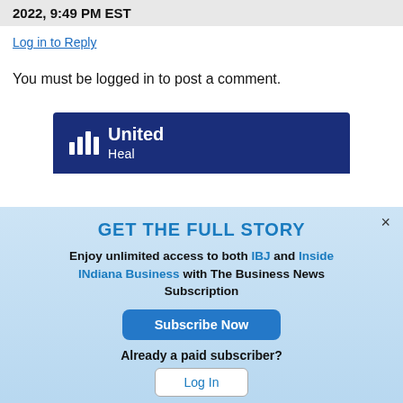2022, 9:49 PM EST
Log in to Reply
You must be logged in to post a comment.
[Figure (logo): United Health logo partial — dark navy blue background with white bar chart icon and white text 'United']
GET THE FULL STORY
Enjoy unlimited access to both IBJ and Inside INdiana Business with The Business News Subscription
Subscribe Now
Already a paid subscriber?
Log In